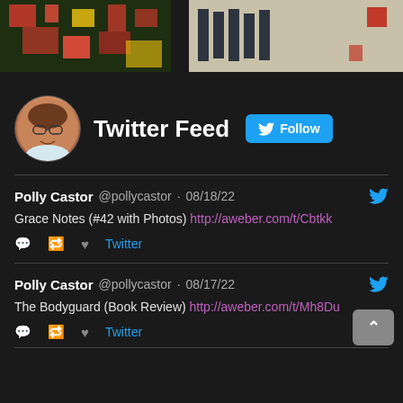[Figure (photo): Two artwork images at top: left shows colorful abstract painting with red and green tones; right shows a beige/tan abstract with dark vertical stripes and red accents]
Twitter Feed  Follow
Polly Castor @pollycastor · 08/18/22
Grace Notes (#42 with Photos) http://aweber.com/t/Cbtkk
Twitter
Polly Castor @pollycastor · 08/17/22
The Bodyguard (Book Review) http://aweber.com/t/Mh8Du
Twitter